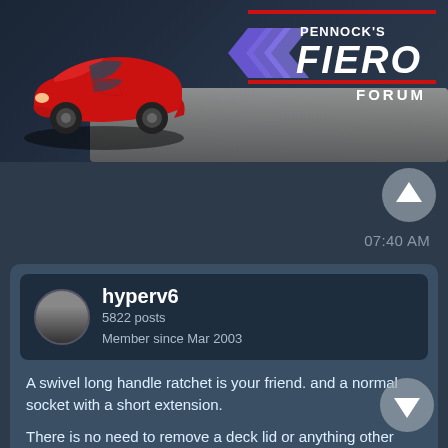[Figure (screenshot): Pennock's Fiero Forum banner with red Fiero car illustration and forum logo at top]
07:40 AM
hyperv6
5822 posts
Member since Mar 2003
A swivel long handle ratchet is your friend. and a normal socket with a short extension.

There is no need to remove a deck lid or anything other than the side covers.

Might spray oil in and let it soak a little before you remove them if they are rusted.

The plugs are not hard to change and you just have to work with out looking at them. The only real pain is if they